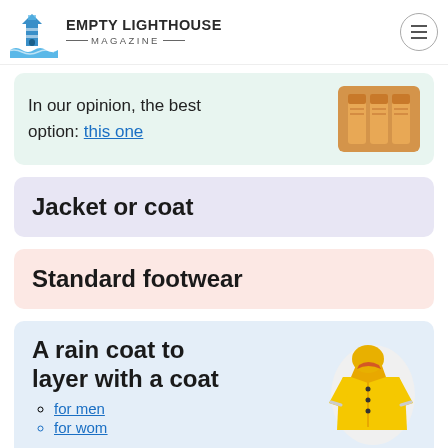EMPTY LIGHTHOUSE MAGAZINE
In our opinion, the best option: this one
Jacket or coat
Standard footwear
A rain coat to layer with a coat
for men
for women